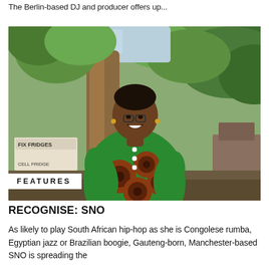The Berlin-based DJ and producer offers up...
[Figure (photo): A smiling woman wearing a green and brown African print top stands outdoors under a large tree with lush green leaves. A sign reading 'FIX FRIDGES / CELL FRIDGE' is visible in the background on the left.]
FEATURES
RECOGNISE: SNO
As likely to play South African hip-hop as she is Congolese rumba, Egyptian jazz or Brazilian boogie, Gauteng-born, Manchester-based SNO is spreading the